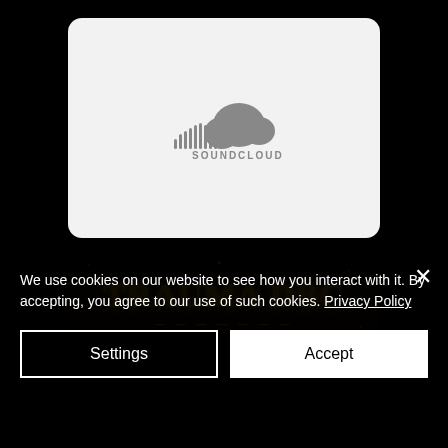[Figure (logo): SoundCloud logo with waveform icon and text SOUNDCLOUD on a light gray rounded card background]
[Figure (photo): Dark background image with gold/yellow bold text reading TRAUMA DBC with glowing effect]
We use cookies on our website to see how you interact with it. By accepting, you agree to our use of such cookies. Privacy Policy
Settings
Accept